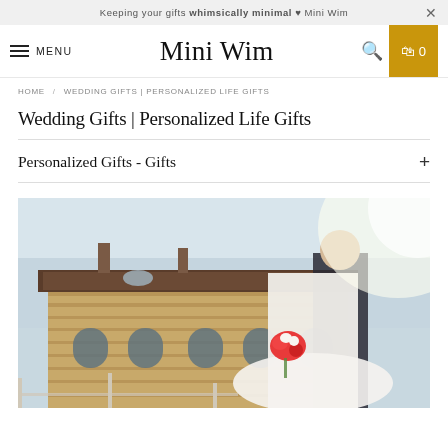Keeping your gifts whimsically minimal ♥ Mini Wim
Mini Wim
HOME / WEDDING GIFTS | PERSONALIZED LIFE GIFTS
Wedding Gifts | Personalized Life Gifts
Personalized Gifts - Gifts
[Figure (photo): Wedding couple photo: bride in white dress holding red and white bouquet, groom in dark suit, standing in front of a stone building with arched windows]